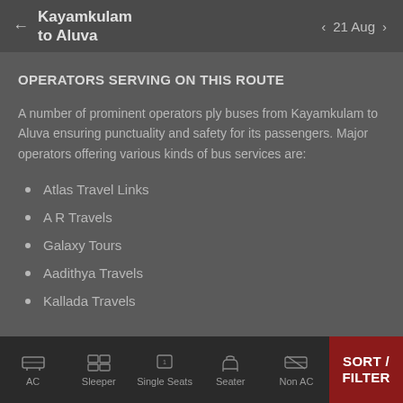Kayamkulam to Aluva   21 Aug
OPERATORS SERVING ON THIS ROUTE
A number of prominent operators ply buses from Kayamkulam to Aluva ensuring punctuality and safety for its passengers. Major operators offering various kinds of bus services are:
Atlas Travel Links
A R Travels
Galaxy Tours
Aadithya Travels
Kallada Travels
AC   Sleeper   Single Seats   Seater   Non AC   SORT / FILTER